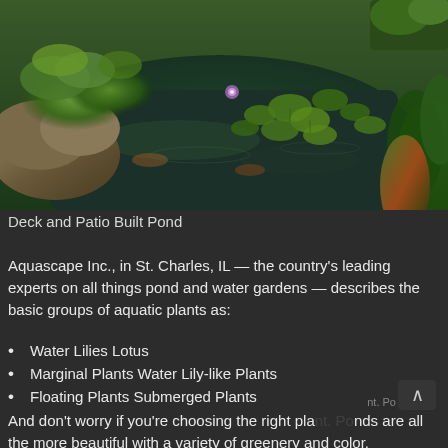[Figure (photo): A garden pond with lily pads floating on dark green water, rocks with moss on the left side, large tropical leaves on the right side, and a purple water lily flower in bloom. The pond has koi fish visible beneath the surface.]
Deck and Patio Built Pond
Aquascape Inc., in St. Charles, IL — the country's leading experts on all things pond and water gardens — describes the basic groups of aquatic plants as:
Water Lilies Lotus
Marginal Plants Water Lily-like Plants
Floating Plants Submerged Plants
And don't worry if you're choosing the right plant. Ponds are all the more beautiful with a variety of greenery and color.